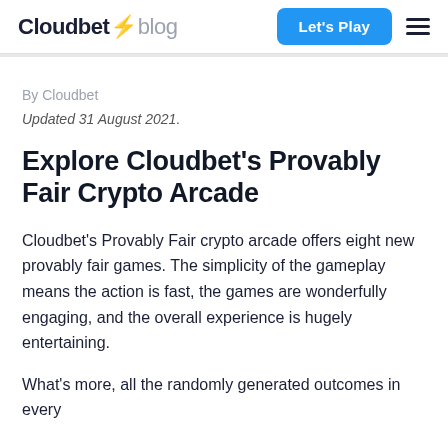Cloudbet blog | Let's Play
By Cloudbet
Updated 31 August 2021.
Explore Cloudbet's Provably Fair Crypto Arcade
Cloudbet's Provably Fair crypto arcade offers eight new provably fair games. The simplicity of the gameplay means the action is fast, the games are wonderfully engaging, and the overall experience is hugely entertaining.
What's more, all the randomly generated outcomes in every